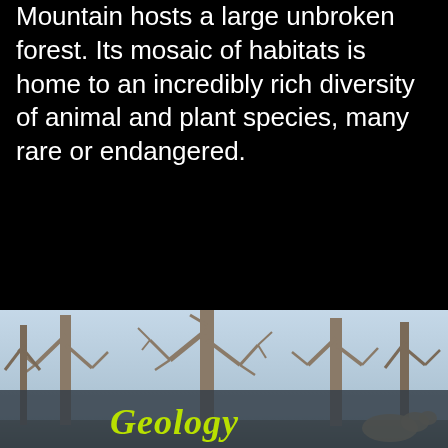Mountain hosts a large unbroken forest. Its mosaic of habitats is home to an incredibly rich diversity of animal and plant species, many rare or endangered.
EXPLORE
[Figure (photo): Photo of bare winter trees with light sky background, with a partially visible animal (possibly a deer) at the bottom right]
Geology